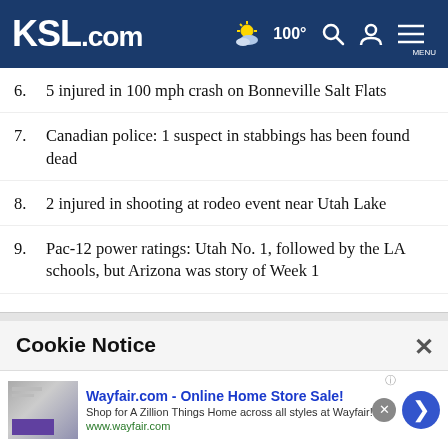KSL.com — navigation header with weather (100°), search, account, and menu icons
6. 5 injured in 100 mph crash on Bonneville Salt Flats
7. Canadian police: 1 suspect in stabbings has been found dead
8. 2 injured in shooting at rodeo event near Utah Lake
9. Pac-12 power ratings: Utah No. 1, followed by the LA schools, but Arizona was story of Week 1
Cookie Notice
We use cookies to improve your experience, analyze site traffic, and to personalize content and ads. By continuing to use our site, you consent to our use of cookies. Please visit our Terms of Use and Privacy Policy for more information.
Wayfair.com - Online Home Store Sale! Shop for A Zillion Things Home across all styles at Wayfair! www.wayfair.com